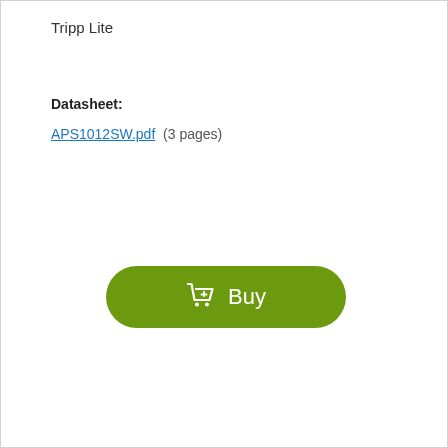Tripp Lite
Datasheet:
APS1012SW.pdf  (3 pages)
[Figure (other): Green rounded Buy button with shopping cart icon and text 'Buy']